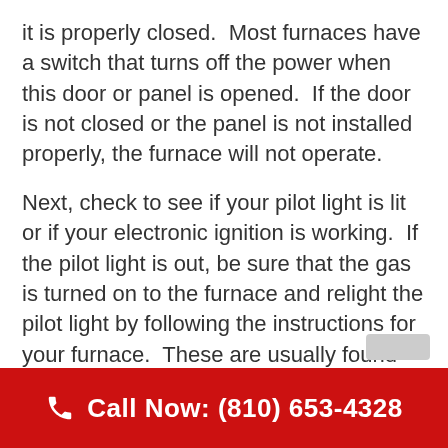it is properly closed.  Most furnaces have a switch that turns off the power when this door or panel is opened.  If the door is not closed or the panel is not installed properly, the furnace will not operate.
Next, check to see if your pilot light is lit or if your electronic ignition is working.  If the pilot light is out, be sure that the gas is turned on to the furnace and relight the pilot light by following the instructions for your furnace.  These are usually found on the furnace near the pilot light.
Call Now: (810) 653-4328